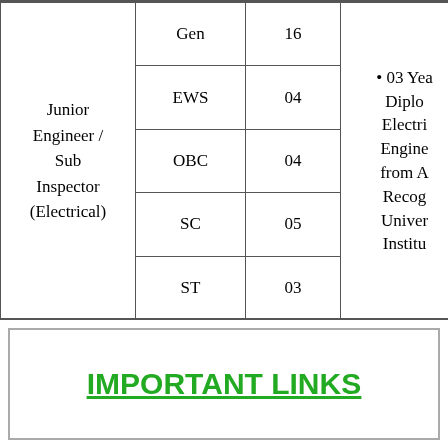| Post | Category | Vacancies | Qualification |
| --- | --- | --- | --- |
| Junior Engineer / Sub Inspector (Electrical) | Gen | 16 | 03 Yea Diplo Electri Engine from A Recog Univer Institu |
| Junior Engineer / Sub Inspector (Electrical) | EWS | 04 |  |
| Junior Engineer / Sub Inspector (Electrical) | OBC | 04 |  |
| Junior Engineer / Sub Inspector (Electrical) | SC | 05 |  |
| Junior Engineer / Sub Inspector (Electrical) | ST | 03 |  |
IMPORTANT LINKS